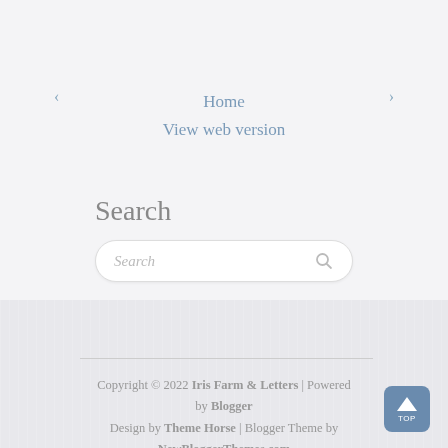‹   Home   ›
View web version
Search
[Figure (other): Search input box with placeholder text 'Search' and a magnifying glass icon]
Copyright © 2022 Iris Farm & Letters | Powered by Blogger
Design by Theme Horse | Blogger Theme by NewBloggerThemes.com